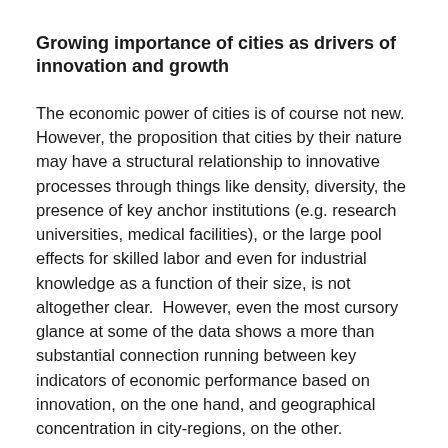Growing importance of cities as drivers of innovation and growth
The economic power of cities is of course not new. However, the proposition that cities by their nature may have a structural relationship to innovative processes through things like density, diversity, the presence of key anchor institutions (e.g. research universities, medical facilities), or the large pool effects for skilled labor and even for industrial knowledge as a function of their size, is not altogether clear.  However, even the most cursory glance at some of the data shows a more than substantial connection running between key indicators of economic performance based on innovation, on the one hand, and geographical concentration in city-regions, on the other.
For instance, following a study of the World Bank, of the 750 global cities analyzed, three-quarters have grown faster than their national economies since the early 2000s.  Recent studies on economic growth of